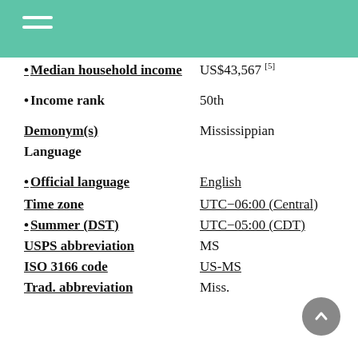•Median household income — US$43,567 [5]
•Income rank — 50th
Demonym(s) — Mississippian
Language
•Official language — English
Time zone — UTC−06:00 (Central)
•Summer (DST) — UTC−05:00 (CDT)
USPS abbreviation — MS
ISO 3166 code — US-MS
Trad. abbreviation — Miss.